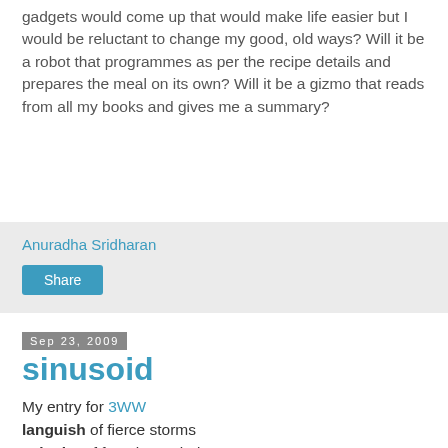gadgets would come up that would make life easier but I would be reluctant to change my good, old ways? Will it be a robot that programmes as per the recipe details and prepares the meal on its own? Will it be a gizmo that reads from all my books and gives me a summary?
Anuradha Sridharan
Share
Sep 23, 2009
sinusoid
My entry for 3WW
languish of fierce storms
velocity of ferocious winds
the intensity mellows down
the high tides, quietens their pace
the follow...